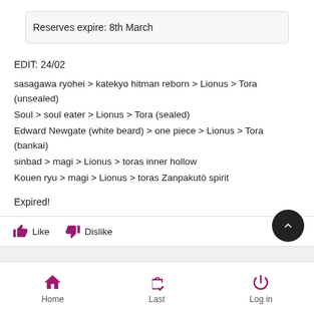Reserves expire: 8th March
EDIT: 24/02
sasagawa ryohei > katekyo hitman reborn > Lionus > Tora (unsealed)
Soul > soul eater > Lionus > Tora (sealed)
Edward Newgate (white beard) > one piece > Lionus > Tora (bankai)
sinbad > magi > Lionus > toras inner hollow
Kouen ryu > magi > Lionus > toras Zanpakutō spirit
Expired!
Home  Last  Log in